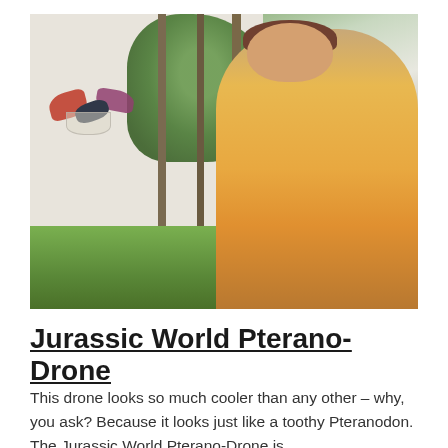[Figure (photo): A smiling boy in an orange shirt holding a remote controller, looking up at a Jurassic World Pterano-Drone (a pteranodon-shaped flying drone) in a backyard setting with trees and grass.]
Jurassic World Pterano-Drone
This drone looks so much cooler than any other – why, you ask? Because it looks just like a toothy Pteranodon. The Jurassic World Pterano-Drone is